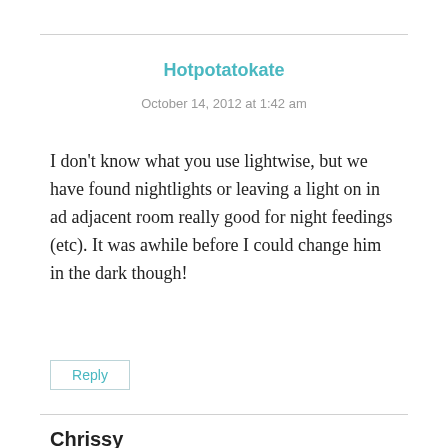Hotpotatokate
October 14, 2012 at 1:42 am
I don't know what you use lightwise, but we have found nightlights or leaving a light on in ad adjacent room really good for night feedings (etc). It was awhile before I could change him in the dark though!
Reply
Chrissy